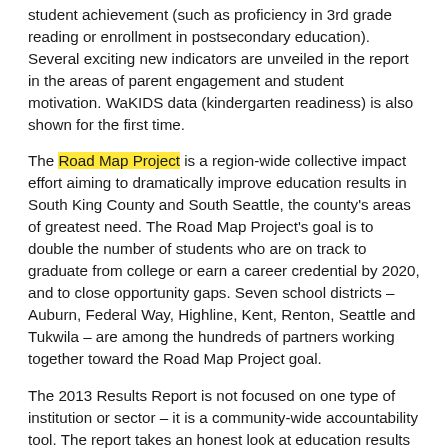student achievement (such as proficiency in 3rd grade reading or enrollment in postsecondary education). Several exciting new indicators are unveiled in the report in the areas of parent engagement and student motivation. WaKIDS data (kindergarten readiness) is also shown for the first time.
The Road Map Project is a region-wide collective impact effort aiming to dramatically improve education results in South King County and South Seattle, the county's areas of greatest need. The Road Map Project's goal is to double the number of students who are on track to graduate from college or earn a career credential by 2020, and to close opportunity gaps. Seven school districts – Auburn, Federal Way, Highline, Kent, Renton, Seattle and Tukwila – are among the hundreds of partners working together toward the Road Map Project goal.
The 2013 Results Report is not focused on one type of institution or sector – it is a community-wide accountability tool. The report takes an honest look at education results – the good and the bad – and is meant to help focus attention and spur continuous improvement. The report documents much progress but also places particular emphasis on opportunity gaps. Regionally, gaps